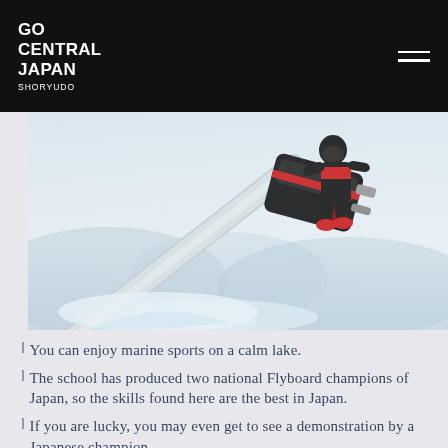GO CENTRAL JAPAN SHORYUDO
[Figure (photo): Person riding a Flyboard above a calm lake with mountains in the background, water spray visible below.]
You can enjoy marine sports on a calm lake.
The school has produced two national Flyboard champions of Japan, so the skills found here are the best in Japan.
If you are lucky, you may even get to see a demonstration by a Japanese champion.